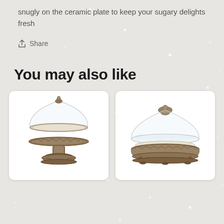snugly on the ceramic plate to keep your sugary delights fresh
Share
You may also like
[Figure (photo): Ornate bronze pedestal cake stand with glass dome cloche on white background]
[Figure (photo): Ornate bronze low-profile cake stand with glass dome cloche and ceramic plate on white background]